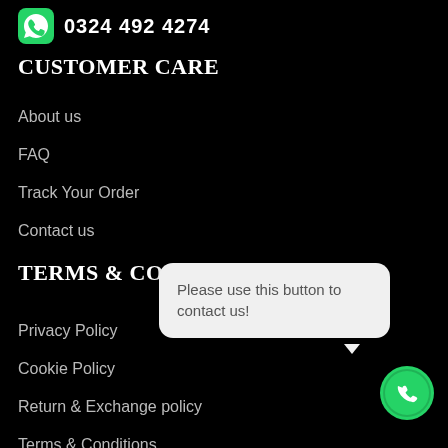0324 492 4274
CUSTOMER CARE
About us
FAQ
Track Your Order
Contact us
TERMS & CONDITIONS
Privacy Policy
Cookie Policy
Return & Exchange policy
Terms & Conditions
Please use this button to contact us!